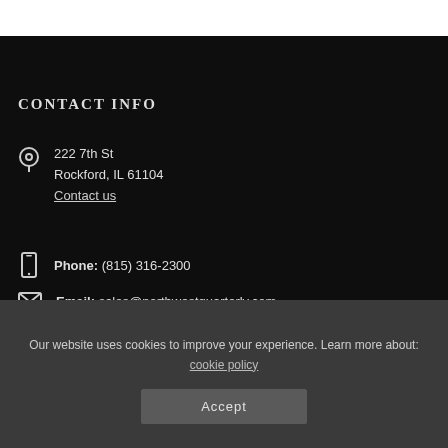CONTACT INFO
222 7th St
Rockford, IL 61104
Contact us
Phone: (815) 316-2300
Email: sales@northwestquarterly.com
HOURS OF OPERATION
Our website uses cookies to improve your experience. Learn more about: cookie policy
Accept